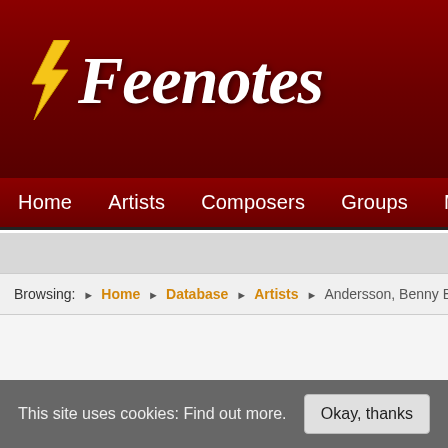[Figure (logo): Feenotes website header with lightning bolt logo and site name in italic script on dark red background]
Home   Artists   Composers   Groups   Music
Browsing: › Home › Database › Artists › Andersson, Benny Bror Goran (1...
This site uses cookies: Find out more.   Okay, thanks